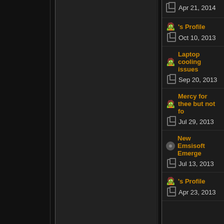Apr 21, 2014
's Profile | Oct 10, 2013
Laptop cooling issues | Sep 20, 2013
Mercy for thee but not fo... | Jul 29, 2013
New Emsisoft Emerge... | Jul 13, 2013
's Profile | Apr 23, 2013